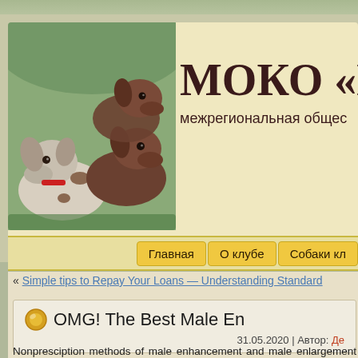[Figure (photo): Three German Shorthaired Pointer dogs photographed together, two brown/chocolate colored and one white with brown spots, with a red collar visible on the front dog.]
МOKO «Не...
межрегиональная общес...
Главная | О клубе | Собаки кл...
« Simple tips to Repay Your Loans — Understanding Standard
OMG! The Best Male En...
31.05.2020 | Автор: Де...
Nonpresciption methods of male enhancement and male enlargement w... There are plenty of male enhancement capsules in the marketplace, but...